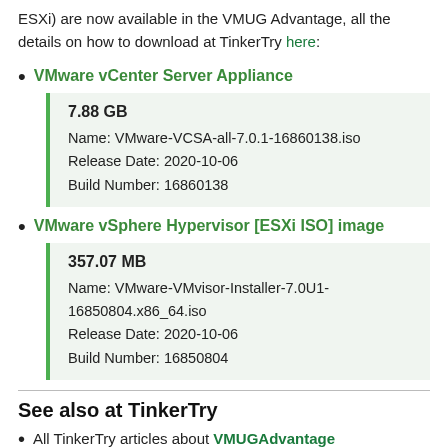ESXi) are now available in the VMUG Advantage, all the details on how to download at TinkerTry here:
VMware vCenter Server Appliance
7.88 GB
Name: VMware-VCSA-all-7.0.1-16860138.iso
Release Date: 2020-10-06
Build Number: 16860138
VMware vSphere Hypervisor [ESXi ISO] image
357.07 MB
Name: VMware-VMvisor-Installer-7.0U1-16850804.x86_64.iso
Release Date: 2020-10-06
Build Number: 16850804
See also at TinkerTry
All TinkerTry articles about VMUGAdvantage